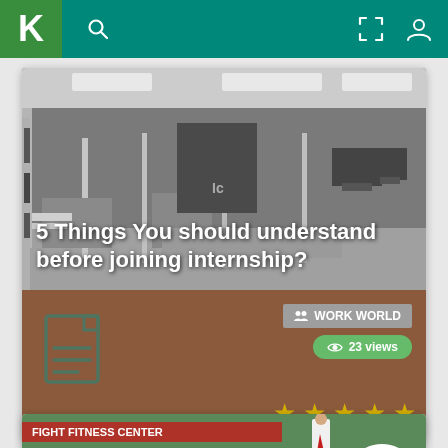K [logo] [search icon] [expand icon] [profile icon]
[Figure (screenshot): Mobile app screenshot showing a card with office interior photograph (grayscale) with text overlay '5 Things You should understand before joining internship?' and a brown info panel below with document icon, WORK WORLD badge, 23 views badge, and 5 empty star ratings. A second card is partially visible at the bottom.]
5 Things You should understand before joining internship?
WORK WORLD
23 views